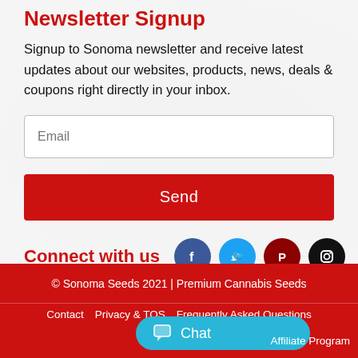Newsletter Signup
Signup to Sonoma newsletter and receive latest updates about our websites, products, news, deals & coupons right directly in your inbox.
Connect with us
© Sonoma Seeds 2021 | Premium Cannabis Seeds
Contact
Privacy & TOS
Frequently Asked Questions
Affiliate Program
Chat